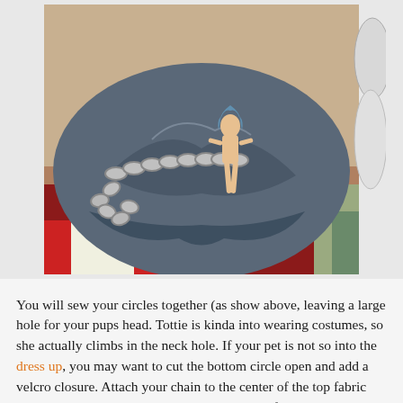[Figure (photo): Photo of a dark blue/grey fabric circle laid on a colorful patterned rug, with a Barbie doll sitting on top of the fabric and a metal chain draped across the scene. Additional craft supplies (white containers) visible at the edges.]
You will sew your circles together (as show above, leaving a large hole for your pups head. Tottie is kinda into wearing costumes, so she actually climbs in the neck hole. If your pet is not so into the dress up, you may want to cut the bottom circle open and add a velcro closure. Attach your chain to the center of the top fabric circle. You will add your Barbie to the chain after cutting her hair and dolling up her makeup. McKenna used red nail polish to paint on bright red lipstick.